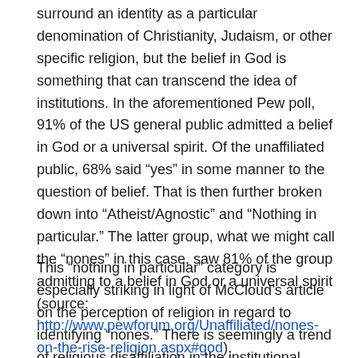surround an identity as a particular denomination of Christianity, Judaism, or other specific religion, but the belief in God is something that can transcend the idea of institutions. In the aforementioned Pew poll, 91% of the US general public admitted a belief in God or a universal spirit. Of the unaffiliated public, 68% said “yes” in some manner to the question of belief. That is then further broken down into “Atheist/Agnostic” and “Nothing in particular.” The latter group, what we might call the “nones” in this case, saw 81% of the group admitting to a belief in God or a universal spirit (source: http://www.pewforum.org/Unaffiliated/nones-on-the-rise-religion.aspx#god).
This “nothing in particular” category is especially striking in light of McCloud’s article on the perception of religion in regard to identifying “nones.” There is seemingly a trend of religious disaffiliation in the institutional sense of religion, but not spiritual disaffiliation: people still believe in